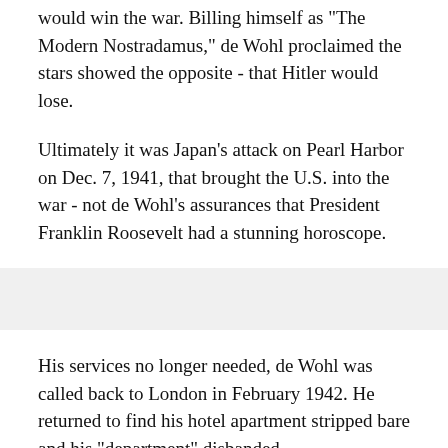would win the war. Billing himself as "The Modern Nostradamus," de Wohl proclaimed the stars showed the opposite - that Hitler would lose.
Ultimately it was Japan's attack on Pearl Harbor on Dec. 7, 1941, that brought the U.S. into the war - not de Wohl's assurances that President Franklin Roosevelt had a stunning horoscope.
His services no longer needed, de Wohl was called back to London in February 1942. He returned to find his hotel apartment stripped bare and his "department" disbanded.
According to the released MI5 correspondence